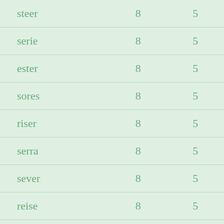| steer | 8 | 5 |
| serie | 8 | 5 |
| ester | 8 | 5 |
| sores | 8 | 5 |
| riser | 8 | 5 |
| serra | 8 | 5 |
| sever | 8 | 5 |
| reise | 8 | 5 |
| erste | 8 | 5 |
| evers | 8 | 5 |